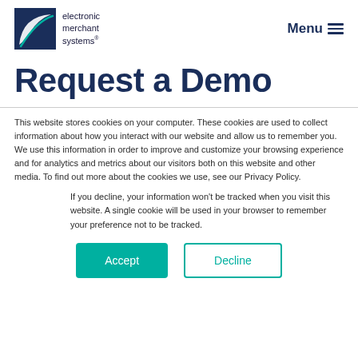electronic merchant systems — Menu
Request a Demo
This website stores cookies on your computer. These cookies are used to collect information about how you interact with our website and allow us to remember you. We use this information in order to improve and customize your browsing experience and for analytics and metrics about our visitors both on this website and other media. To find out more about the cookies we use, see our Privacy Policy.
If you decline, your information won't be tracked when you visit this website. A single cookie will be used in your browser to remember your preference not to be tracked.
Accept | Decline